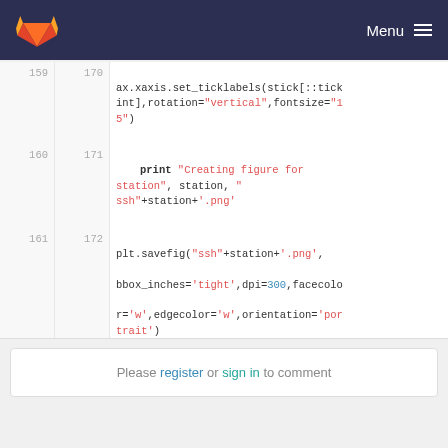GitLab — Menu
[Figure (screenshot): Code diff view showing Python source lines 159-172 with syntax highlighting. Line 159/170: ax.xaxis.set_ticklabels(stick[::tickint],rotation="vertical",fontsize="15"). Line 160/171: print "Creating figure for station", station, "ssh"+station+'.png'. Line 161/172: plt.savefig("ssh"+station+'.png',bbox_inches='tight',dpi=300,facecolor='w',edgecolor='w',orientation='portrait')]
Please register or sign in to comment